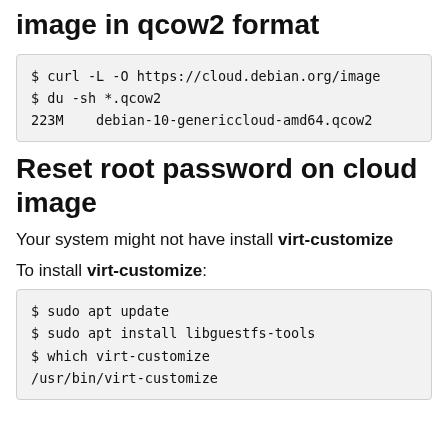image in qcow2 format
Reset root password on cloud image
Your system might not have install virt-customize
To install virt-customize: